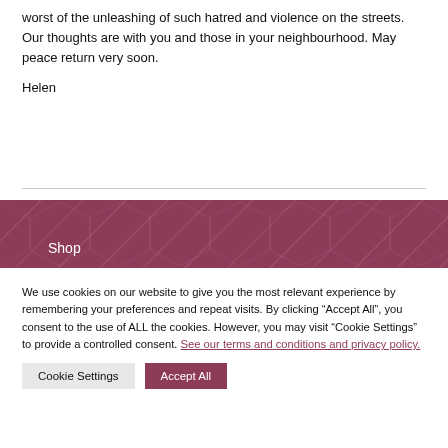worst of the unleashing of such hatred and violence on the streets. Our thoughts are with you and those in your neighbourhood. May peace return very soon.
Helen
[Figure (other): Dark mauve/burgundy footer banner with hexagonal pattern overlay and 'Shop' label in white text]
We use cookies on our website to give you the most relevant experience by remembering your preferences and repeat visits. By clicking “Accept All”, you consent to the use of ALL the cookies. However, you may visit “Cookie Settings” to provide a controlled consent. See our terms and conditions and privacy policy.
Cookie Settings
Accept All